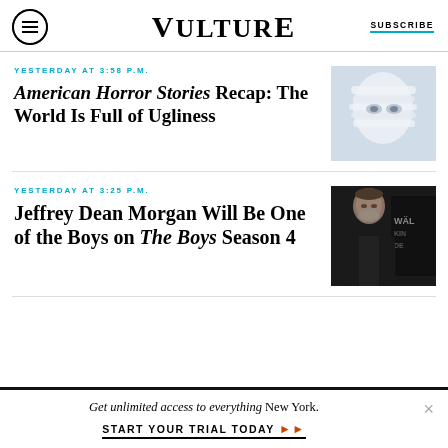VULTURE | SUBSCRIBE
YESTERDAY AT 3:58 P.M.
American Horror Stories Recap: The World Is Full of Ugliness
[Figure (photo): Close-up horror image with white fabric and eyes]
YESTERDAY AT 3:25 P.M.
Jeffrey Dean Morgan Will Be One of the Boys on The Boys Season 4
[Figure (photo): Jeffrey Dean Morgan at a red carpet event in front of The Walking Dead backdrop]
Get unlimited access to everything New York. START YOUR TRIAL TODAY